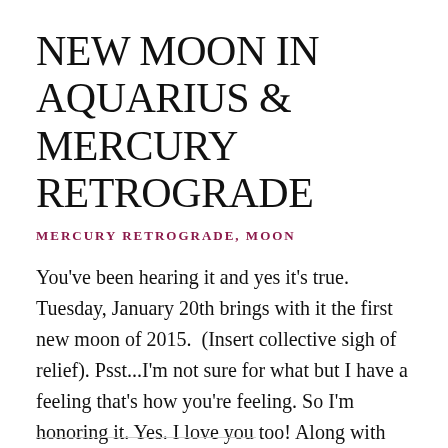NEW MOON IN AQUARIUS & MERCURY RETROGRADE
MERCURY RETROGRADE, MOON
You've been hearing it and yes it's true. Tuesday, January 20th brings with it the first new moon of 2015.  (Insert collective sigh of relief). Psst...I'm not sure for what but I have a feeling that's how you're feeling. So I'm honoring it. Yes. I love you too! Along with the new moon there are 2 [...]